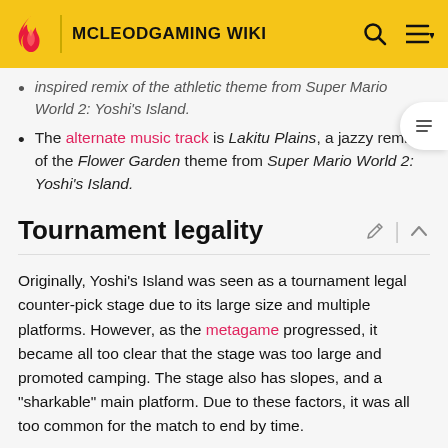MCLEODGAMING WIKI
inspired remix of the athletic theme from Super Mario World 2: Yoshi's Island.
The alternate music track is Lakitu Plains, a jazzy remix of the Flower Garden theme from Super Mario World 2: Yoshi's Island.
Tournament legality
Originally, Yoshi's Island was seen as a tournament legal counter-pick stage due to its large size and multiple platforms. However, as the metagame progressed, it became all too clear that the stage was too large and promoted camping. The stage also has slopes, and a "sharkable" main platform. Due to these factors, it was all too common for the match to end by time.